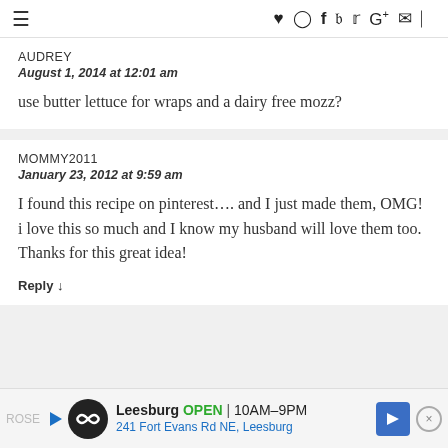≡  ♥ Instagram Facebook Pinterest Twitter G+ Email RSS
AUDREY
August 1, 2014 at 12:01 am
use butter lettuce for wraps and a dairy free mozz?
MOMMY2011
January 23, 2012 at 9:59 am
I found this recipe on pinterest…. and I just made them, OMG! i love this so much and I know my husband will love them too. Thanks for this great idea!
Reply ↓
ROSE
[Figure (screenshot): Advertisement banner: Leesburg OPEN 10AM-9PM, 241 Fort Evans Rd NE, Leesburg with map icon and close button]